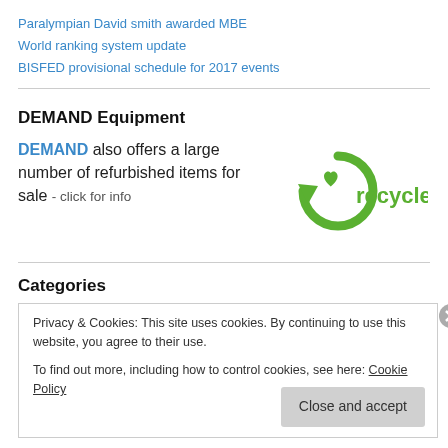Paralympian David smith awarded MBE
World ranking system update
BISFED provisional schedule for 2017 events
DEMAND Equipment
DEMAND also offers a large number of refurbished items for sale - click for info
[Figure (logo): Green recycle logo with heart and the word recycle]
Categories
Privacy & Cookies: This site uses cookies. By continuing to use this website, you agree to their use.
To find out more, including how to control cookies, see here: Cookie Policy
Close and accept